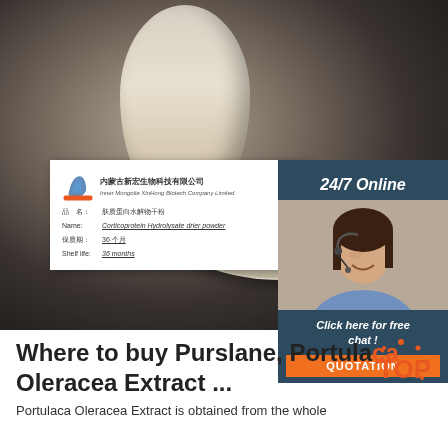[Figure (photo): Product photo showing a flask with beige powder, a petri dish with powder, and a label card from Inner Mongolia XinHong Biotech Company Limited showing Corticoprotein Hydrolysate drier powder, with a 24/7 Online customer service overlay panel on the right featuring an agent photo and QUOTATION button.]
Where to buy Purslane, Portulaca Oleracea Extract ...
Portulaca Oleracea Extract is obtained from the whole